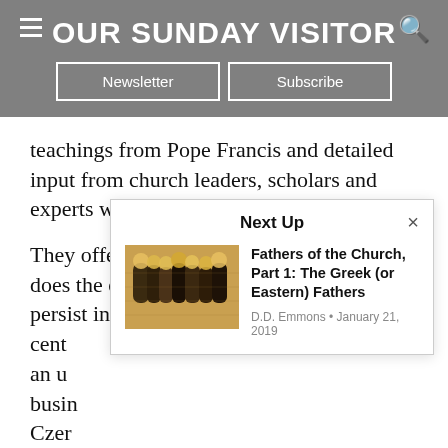OUR SUNDAY VISITOR
teachings from Pope Francis and detailed input from church leaders, scholars and experts working in the field of trafficking.
They offer a reading and analysis of “Why does the depravity of human trafficking persist in the 21st cent[ury]... an u[rgent]... busin[ess]... Czer[ny]...
[Figure (screenshot): Next Up popup overlay showing article 'Fathers of the Church, Part 1: The Greek (or Eastern) Fathers' by D.D. Emmons, January 21, 2019, with a mosaic thumbnail image]
Fathers of the Church, Part 1: The Greek (or Eastern) Fathers
D.D. Emmons • January 21, 2019